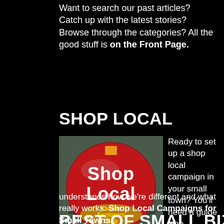Want to search our past articles? Catch up with the latest stories? Browse through the categories? All the good stuff is on the Front Page.
SHOP LOCAL
[Figure (photo): A red circular pin/badge reading 'Shop Local' in white text, with 'Kansas Explorers Club' in yellow text at the bottom, placed on a gray textured background.]
Ready to set up a shop local campaign in your small town? You'll need a guide who understands how we're different and what really works: Shop Local Campaigns for Small Towns.
BEST OF SMALL BIZ SURVIVAL